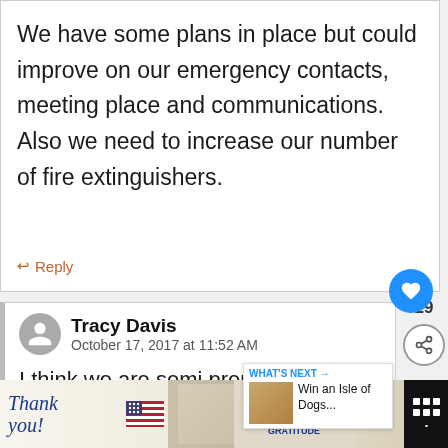We have some plans in place but could improve on our emergency contacts, meeting place and communications. Also we need to increase our number of fire extinguishers.
Reply
Tracy Davis
October 17, 2017 at 11:52 AM
I think we are semi prepared beca... have fire alarms.
[Figure (screenshot): Advertisement bar at bottom: Thank you message with US flag and Operation Gratitude logo, nurses image]